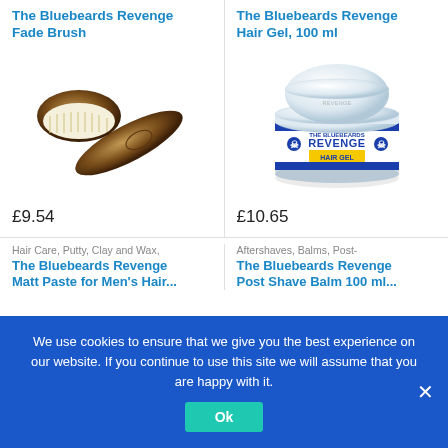The Bluebeards Revenge Fade Brush
[Figure (photo): Photo of The Bluebeards Revenge Fade Brush — a wooden hairbrush with natural bristles]
£9.54
The Bluebeards Revenge Hair Gel, 100 ml
[Figure (photo): Photo of The Bluebeards Revenge Hair Gel tin, 100ml, white lid with skull logo and blue/yellow label]
£10.65
Hair Care, Putty, Clay and Wax,
The Bluebeards Revenge Matt Paste for Men's Hair...
Aftershaves, Balms, Post-
The Bluebeards Revenge Post Shave Balm 100 ml...
We use cookies to ensure that we give you the best experience on our website. If you continue to use this site we will assume that you are happy with it.